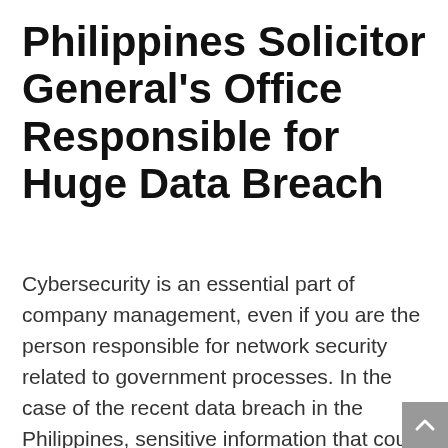Philippines Solicitor General's Office Responsible for Huge Data Breach
Cybersecurity is an essential part of company management, even if you are the person responsible for network security related to government processes. In the case of the recent data breach in the Philippines, sensitive information that could disrupt and harm ongoing judicial proceedings was exposed to anyone with an internet browser. These